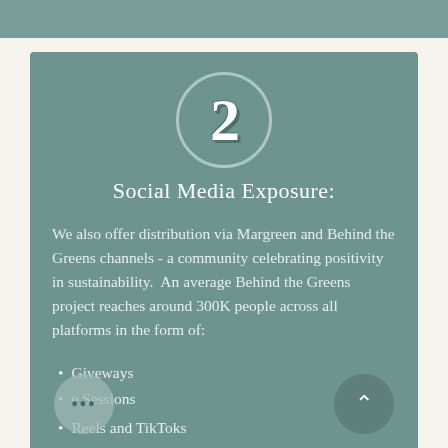[Figure (other): Number 2 inside a circle on a teal card background]
Social Media Exposure:
We also offer distribution via Margreen and Behind the Greens channels - a community celebrating positivity in sustainability.  An average Behind the Greens project reaches around 300K people across all platforms in the form of:
Giveways
e Sessions
Reels and TikToks